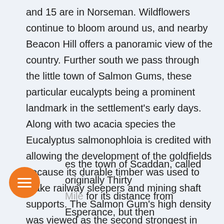and 15 are in Norseman. Wildflowers continue to bloom around us, and nearby Beacon Hill offers a panoramic view of the country. Further south we pass through the little town of Salmon Gums, these particular eucalypts being a prominent landmark in the settlement's early days. Along with two acacia species the Eucalyptus salmonophloia is credited with allowing the development of the goldfields because its durable timber was used to make railway sleepers and mining shaft supports. The Salmon Gum's high density was viewed as the second strongest in Australia, and is still appreciated by craftsmen, and used in musical instruments. The Coolgardie-Esperance highway [pa]sses the town of Scaddan, called originally Thirty [Mile] for its distance from Esperance, but then